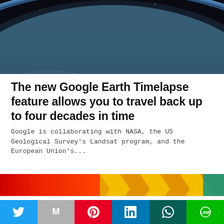[Figure (photo): Aerial/space photograph of Earth showing the curvature of the planet with atmosphere glow against dark space background]
The new Google Earth Timelapse feature allows you to travel back up to four decades in time
Google is collaborating with NASA, the US Geological Survey's Landsat program, and the European Union's...
[Figure (photo): Colorful vibrant strip image showing red and orange diamond/geometric pattern]
This website uses cookies.
[Figure (infographic): Social media sharing bar with Twitter, Gmail, Pinterest, LinkedIn, WhatsApp, and LINE buttons]